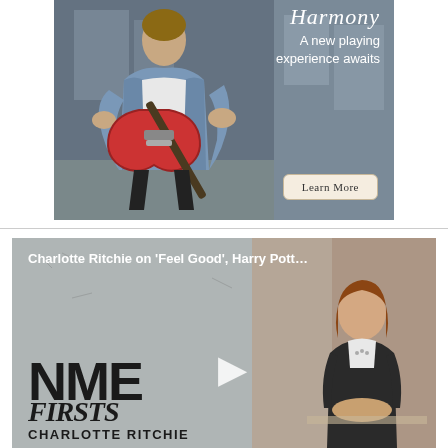[Figure (photo): Advertisement banner for Harmony guitars. A man in a denim jacket plays a red electric guitar with text 'Harmony - A new playing experience awaits' and a 'Learn More' button.]
[Figure (screenshot): NME Firsts video thumbnail featuring Charlotte Ritchie. Title text reads 'Charlotte Ritchie on Feel Good, Harry Pott...' with NME Firsts logo and Charlotte Ritchie name below. A play button is visible in the center.]